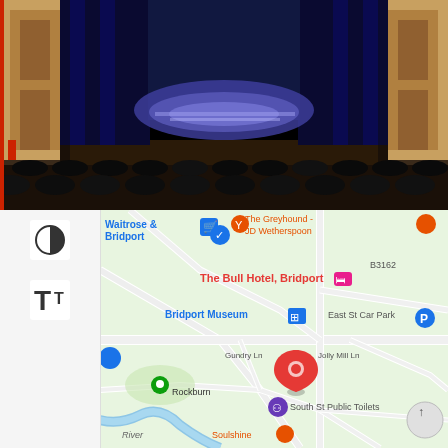[Figure (photo): Interior of a theater showing a stage with blue curtains lit with purple/blue stage lighting, black seating rows in the foreground, wooden paneled walls on sides]
[Figure (map): Google Maps view of Bridport town center showing locations including: Waitrose & Bridport, The Greyhound - JD Wetherspoon, The Bull Hotel Bridport, Bridport Museum, East St Car Park, Gundry Ln, Jolly Mill Ln, South St Public Toilets, Rockburn, Soulshine, River, B3162. A red pin marker indicates a specific location near Gundry Ln. A north arrow button is visible at bottom right.]